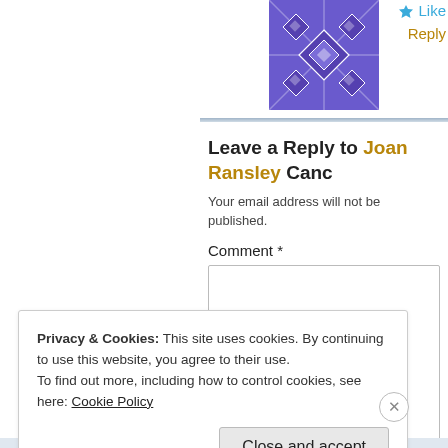[Figure (illustration): Purple geometric/quilted pattern avatar icon]
Like
Reply
Leave a Reply to Joan Ransley Canc
Your email address will not be published.
Comment *
Privacy & Cookies: This site uses cookies. By continuing to use this website, you agree to their use.
To find out more, including how to control cookies, see here: Cookie Policy
Close and accept